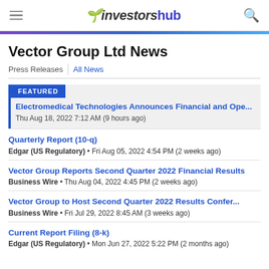investorshub
Vector Group Ltd News
Press Releases  All News
FEATURED
Electromedical Technologies Announces Financial and Ope...
Thu Aug 18, 2022 7:12 AM (9 hours ago)
Quarterly Report (10-q)
Edgar (US Regulatory) • Fri Aug 05, 2022 4:54 PM (2 weeks ago)
Vector Group Reports Second Quarter 2022 Financial Results
Business Wire • Thu Aug 04, 2022 4:45 PM (2 weeks ago)
Vector Group to Host Second Quarter 2022 Results Confer...
Business Wire • Fri Jul 29, 2022 8:45 AM (3 weeks ago)
Current Report Filing (8-k)
Edgar (US Regulatory) • Mon Jun 27, 2022 5:22 PM (2 months ago)